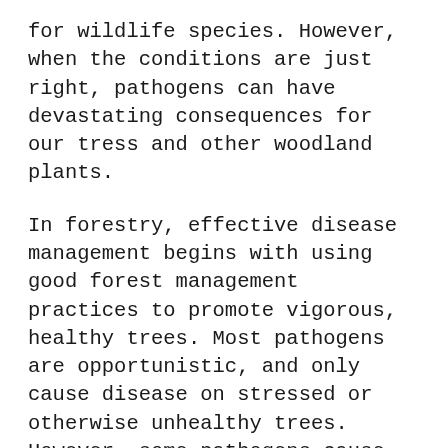for wildlife species. However, when the conditions are just right, pathogens can have devastating consequences for our tress and other woodland plants.
In forestry, effective disease management begins with using good forest management practices to promote vigorous, healthy trees. Most pathogens are opportunistic, and only cause disease on stressed or otherwise unhealthy trees. However, some pathogens cause diseases that can kill healthy trees, reduce timber values, or even wipe-out an entire tree species if left unchecked. Other diseases may not cause any serious harm to trees, but may make trees unsightly susceptible to attack by other pathogens or insects. Tree diseases can be difficult to control, and therefore prevention is the preferred management option. Please seek